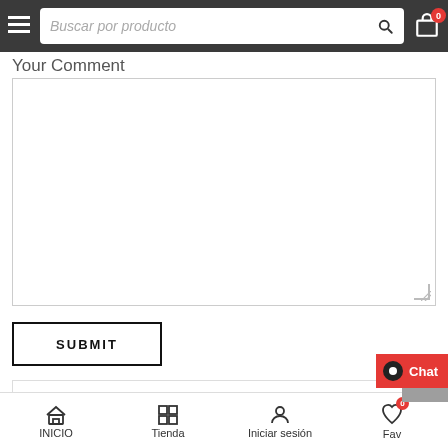Buscar por producto — navigation bar with search, hamburger menu, and cart icon showing 0 items
Your Comment
[Figure (screenshot): Empty textarea input field for user comment]
SUBMIT
CATEGORIES
INICIO | Tienda | Iniciar sesión | Fav — bottom navigation bar with Chat button